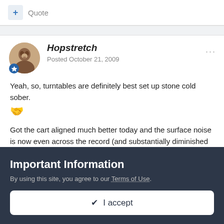+ Quote
Hopstretch
Posted October 21, 2009
Yeah, so, turntables are definitely best set up stone cold sober. 🤝
Got the cart aligned much better today and the surface noise is now even across the record (and substantially diminished overall).
Important Information
By using this site, you agree to our Terms of Use.
✔ I accept